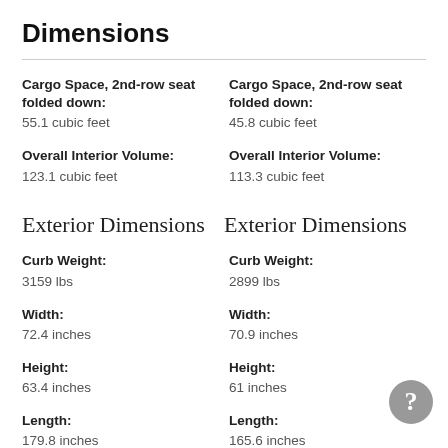Dimensions
Cargo Space, 2nd-row seat folded down:
55.1 cubic feet
Cargo Space, 2nd-row seat folded down:
45.8 cubic feet
Overall Interior Volume:
123.1 cubic feet
Overall Interior Volume:
113.3 cubic feet
Exterior Dimensions
Exterior Dimensions
Curb Weight:
3159 lbs
Curb Weight:
2899 lbs
Width:
72.4 inches
Width:
70.9 inches
Height:
63.4 inches
Height:
61 inches
Length:
179.8 inches
Length:
165.6 inches